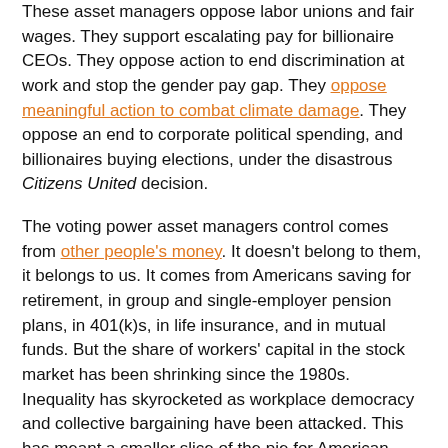These asset managers oppose labor unions and fair wages. They support escalating pay for billionaire CEOs. They oppose action to end discrimination at work and stop the gender pay gap. They oppose meaningful action to combat climate damage. They oppose an end to corporate political spending, and billionaires buying elections, under the disastrous Citizens United decision.
The voting power asset managers control comes from other people's money. It doesn't belong to them, it belongs to us. It comes from Americans saving for retirement, in group and single-employer pension plans, in 401(k)s, in life insurance, and in mutual funds. But the share of workers' capital in the stock market has been shrinking since the 1980s. Inequality has skyrocketed as workplace democracy and collective bargaining have been attacked. This has meant a smaller slice of the pie for American labor, and a growing slice for Wall Street. We need to rebalance the share of income and wealth in favor of labor. We need to give America a pay raise. We need to expand democracy in the workplace and the economy.
As president, Bernie will: